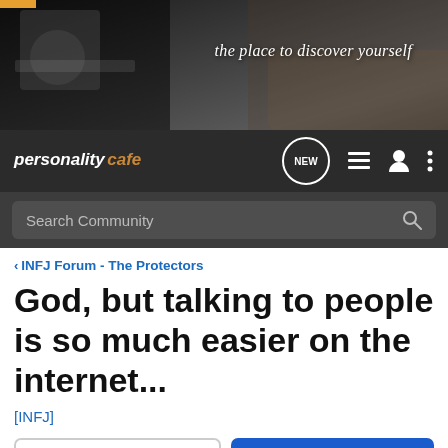[Figure (photo): Website header banner photo showing a coffee cup and laptop on a dark background with the tagline 'the place to discover yourself' in script font]
personalitycafe — NEW (button) | list icon | user icon | more icon | Search Community
< INFJ Forum - The Protectors
God, but talking to people is so much easier on the internet...
[INFJ]
→ Jump to Latest   ⊕ Follow
1 - 9 of 9 Posts